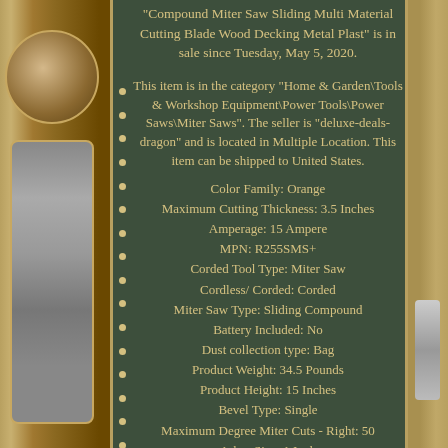"Compound Miter Saw Sliding Multi Material Cutting Blade Wood Decking Metal Plast" is in sale since Tuesday, May 5, 2020.
This item is in the category "Home & Garden\Tools & Workshop Equipment\Power Tools\Power Saws\Miter Saws". The seller is "deluxe-deals-dragon" and is located in Multiple Location. This item can be shipped to United States.
Color Family: Orange
Maximum Cutting Thickness: 3.5 Inches
Amperage: 15 Ampere
MPN: R255SMS+
Corded Tool Type: Miter Saw
Cordless/ Corded: Corded
Miter Saw Type: Sliding Compound
Battery Included: No
Dust collection type: Bag
Product Weight: 34.5 Pounds
Product Height: 15 Inches
Bevel Type: Single
Maximum Degree Miter Cuts - Right: 50
Arbor Size: 1 Inch
Construction Material: Aluminum
Product Depth: 23 Inches
Tools Product Type: Power Tool